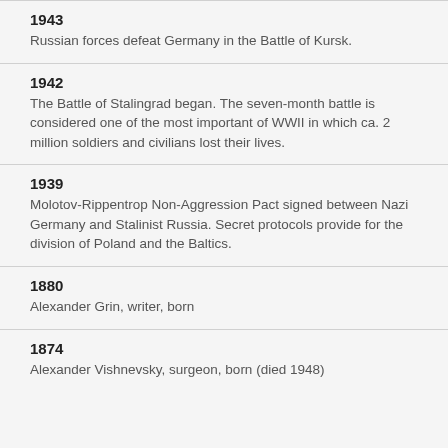1943
Russian forces defeat Germany in the Battle of Kursk.
1942
The Battle of Stalingrad began. The seven-month battle is considered one of the most important of WWII in which ca. 2 million soldiers and civilians lost their lives.
1939
Molotov-Rippentrop Non-Aggression Pact signed between Nazi Germany and Stalinist Russia. Secret protocols provide for the division of Poland and the Baltics.
1880
Alexander Grin, writer, born
1874
Alexander Vishnevsky, surgeon, born (died 1948)